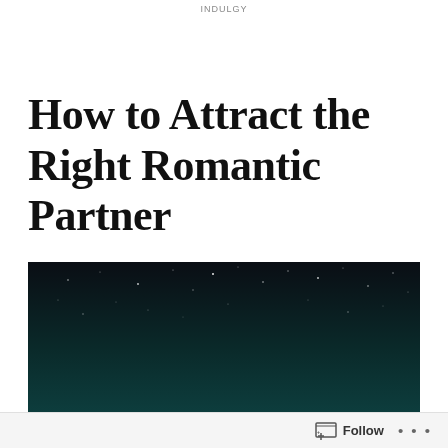INDULGY
How to Attract the Right Romantic Partner
[Figure (photo): Night sky photograph showing a dark teal-to-black gradient sky with scattered stars and a crescent moon near the bottom center of the image.]
Follow ...